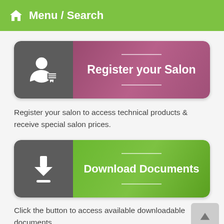Menu / Search
[Figure (screenshot): Register your Salon button with person icon on dark grey left side and purple/pink right side with white bold text]
Register your salon to access technical products & receive special salon prices.
[Figure (screenshot): Download Documents button with download arrow icon on dark grey left side and green right side with white bold text]
Click the button to access available downloadable documents.